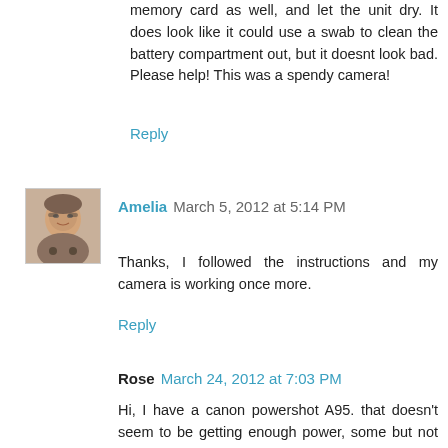memory card as well, and let the unit dry. It does look like it could use a swab to clean the battery compartment out, but it doesnt look bad. Please help! This was a spendy camera!
Reply
Amelia  March 5, 2012 at 5:14 PM
[Figure (photo): Avatar photo of Amelia, an older woman with glasses]
Thanks, I followed the instructions and my camera is working once more.
Reply
Rose  March 24, 2012 at 7:03 PM
Hi, I have a canon powershot A95. that doesn't seem to be getting enough power, some but not enough. It will turn on only if the putton is on camera & the viewer screen is turned (so you can't see the picture) But shuts off soon as you open the viewer door or move the button to view previous pictures or to download. It will take pictures and even the flash works - though I can't see or download these pictures. I just recently got the camera back from sending it